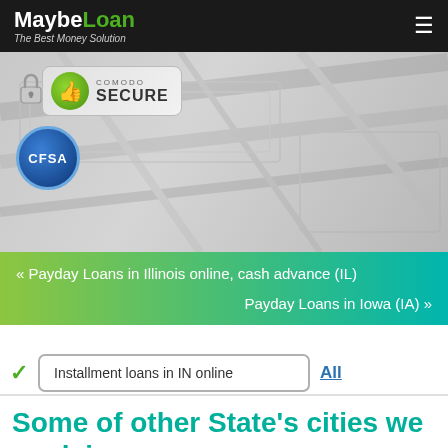MaybeLoan – The Best Money Solution
[Figure (logo): MaybeLoan logo with Comodo Secure badge and CFSA badge on a gray money-themed background]
« Payday Loans in Illinois online, cash advance (IL)
Payday Loans in Iowa (IA) »
Installment loans in IN online
All
Some of other State's cities we work in: